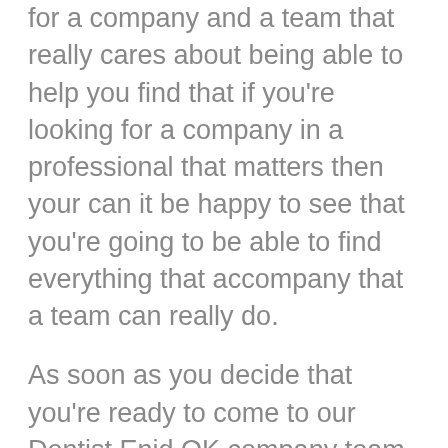for a company and a team that really cares about being able to help you find that if you're looking for a company in a professional that matters then your can it be happy to see that you're going to be able to find everything that accompany that a team can really do.
As soon as you decide that you're ready to come to our Dentist Enid OK company team here to help you smiles and your can it be happy to find that the only way for you to get in contact with the top team in the top companies to make sure that you connect with the right company being able to show you how were going to be the best option for you today